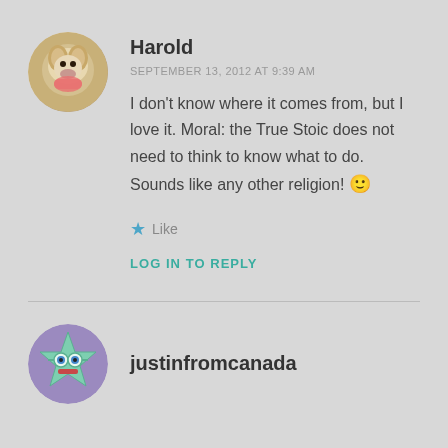[Figure (photo): Circular avatar of a golden/yellow Labrador dog with tongue out]
Harold
SEPTEMBER 13, 2012 AT 9:39 AM
I don't know where it comes from, but I love it. Moral: the True Stoic does not need to think to know what to do. Sounds like any other religion! 🙂
★ Like
LOG IN TO REPLY
[Figure (illustration): Circular avatar with a cartoon star/robot character with goggles on purple background]
justinfromcanada